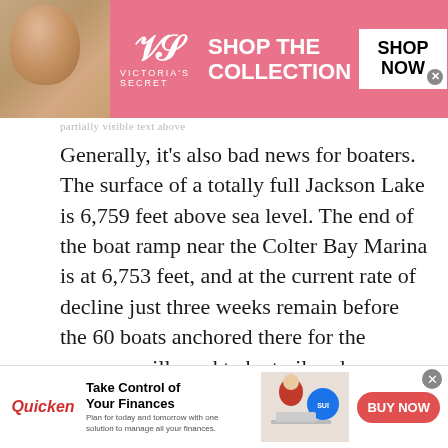[Figure (screenshot): Victoria's Secret advertisement banner with model, VS logo, 'SHOP THE COLLECTION' text, and 'SHOP NOW' button on pink background]
Generally, it's also bad news for boaters. The surface of a totally full Jackson Lake is 6,759 feet above sea level. The end of the boat ramp near the Colter Bay Marina is at 6,753 feet, and at the current rate of decline just three weeks remain before the 60 boats anchored there for the summer will need to be trailered away. Notices have already been emailed out.
"It's probably going to be by the end of the
[Figure (screenshot): Quicken advertisement banner with logo, 'Take Control of Your Finances' headline, woman working on laptop image, pie chart graphic, and 'BUY NOW' red button]